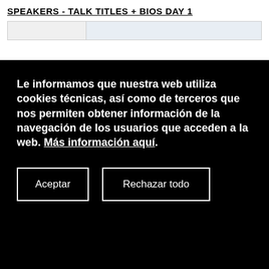SPEAKERS - TALK TITLES + BIOS DAY 1
Le informamos que nuestra web utiliza cookies técnicas, así como de terceros que nos permiten obtener información de la navegación de los usuarios que acceden a la web. Más información aquí.
Aceptar
Rechazar todo